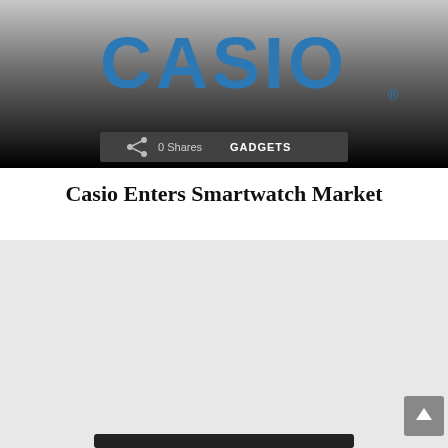[Figure (photo): Casio logo on a dark gradient background (silver to black), with a share bar overlay showing '0 Shares' and 'GADGETS' label]
Casio Enters Smartwatch Market
[Figure (photo): Light grey placeholder image area for article content, with a dark scroll-to-top button in the bottom right corner and a dark bottom navigation bar]